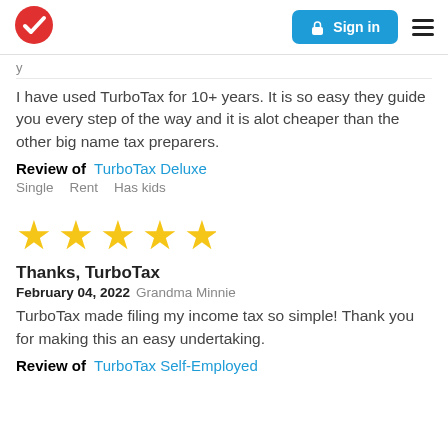[Figure (logo): TurboTax red circle with white checkmark logo]
[Figure (screenshot): Blue Sign in button with lock icon and hamburger menu]
I have used TurboTax for 10+ years. It is so easy they guide you every step of the way and it is alot cheaper than the other big name tax preparers.
Review of  TurboTax Deluxe
Single    Rent    Has kids
[Figure (other): 5 gold star rating]
Thanks, TurboTax
February 04, 2022  Grandma Minnie
TurboTax made filing my income tax so simple! Thank you for making this an easy undertaking.
Review of  TurboTax Self-Employed